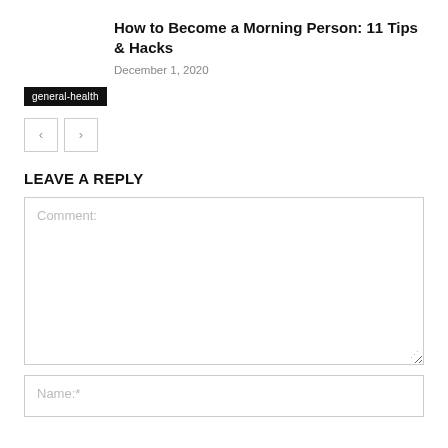How to Become a Morning Person: 11 Tips & Hacks
December 1, 2020
general-health
LEAVE A REPLY
Comment:
Name:*